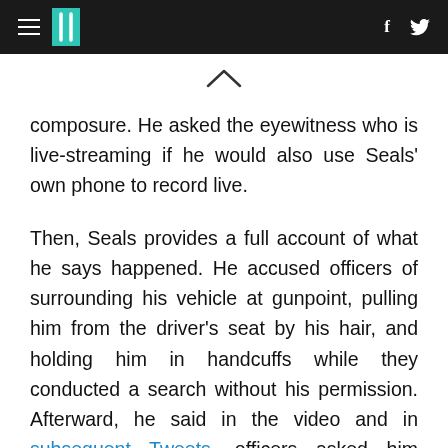HuffPost navigation header with hamburger menu, logo, Facebook and Twitter icons
composure. He asked the eyewitness who is live-streaming if he would also use Seals' own phone to record live.
Then, Seals provides a full account of what he says happened. He accused officers of surrounding his vehicle at gunpoint, pulling him from the driver's seat by his hair, and holding him in handcuffs while they conducted a search without his permission. Afterward, he said in the video and in subsequent Tweets, officers asked him whether he had protested against Donald Trump and then asked him to "Cl...